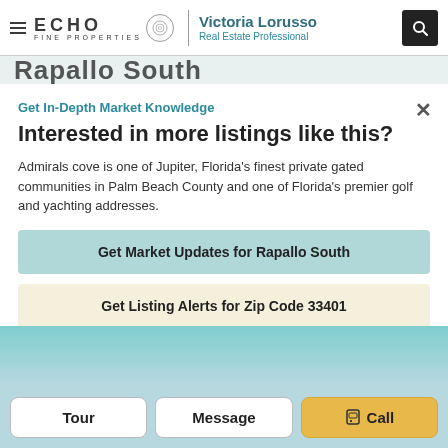ECHO FINE PROPERTIES | Victoria Lorusso Real Estate Professional
Rapallo South
Get In-Depth Market Knowledge
Interested in more listings like this?
Admirals cove is one of Jupiter, Florida's finest private gated communities in Palm Beach County and one of Florida's premier golf and yachting addresses.
Get Market Updates for Rapallo South
Get Listing Alerts for Zip Code 33401
Tour | Message | Call